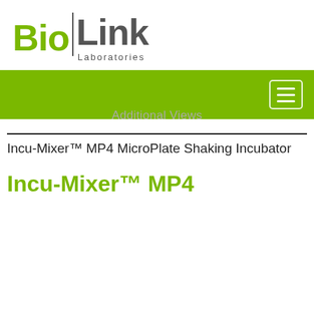[Figure (logo): BioLink Laboratories logo with green 'Bio' text, vertical divider, grey 'Link' text, and 'Laboratories' subtitle]
[Figure (other): Green navigation bar with hamburger menu button (three white lines) in top right corner]
Additional Views
Incu-Mixer™ MP4 MicroPlate Shaking Incubator
Incu-Mixer™ MP4